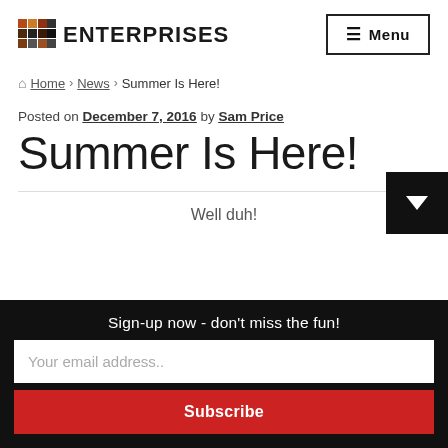DXG ENTERPRISES | Menu
Home › News › Summer Is Here!
Posted on December 7, 2016 by Sam Price
Summer Is Here!
Well duh!
Sign-up now - don't miss the fun!
Your email address..
Subscribe